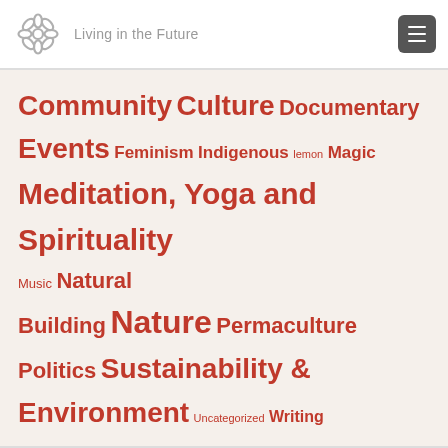Living in the Future
Community Culture Documentary Events Feminism Indigenous lemon Magic Meditation, Yoga and Spirituality Music Natural Building Nature Permaculture Politics Sustainability & Environment Uncategorized Writing
Categories
Community (73)